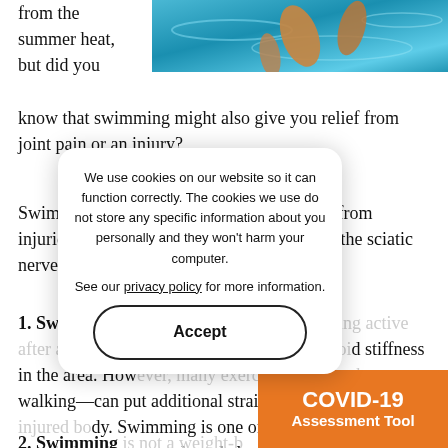[Figure (photo): Swimming pool photo showing arms/legs in blue water, viewed from above]
from the summer heat, but did you know that swimming might also give you relief from joint pain or an injury?
Swimming is an ideal tool for rehabilitation from injuries—such as back injuries or injuries to the sciatic nerve—for many reasons:
1. Swimming is a low-impact exercise. Staying active after an injury is important if you want to avoid stiffness in the area. However, many exercises—even walking—can put additional strain on your sore or injured body. Swimming is one of the few exercises that is truly low-impact and can help you keep moving without increasing the strain on the joint or muscle you are trying to rehab.
2. Swimming is not a weight-bearing exercise...
We use cookies on our website so it can function correctly. The cookies we use do not store any specific information about you personally and they won't harm your computer.

See our privacy policy for more information.
Accept
COVID-19 Assessment Tool